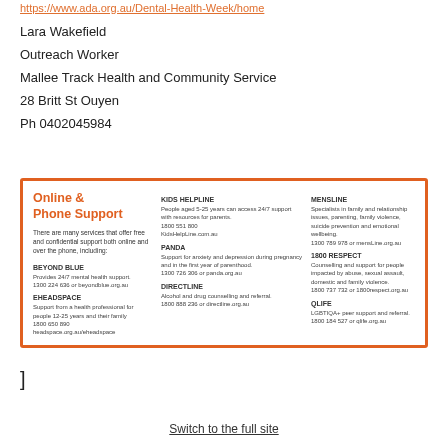https://www.ada.org.au/Dental-Health-Week/home
Lara Wakefield
Outreach Worker
Mallee Track Health and Community Service
28 Britt St Ouyen
Ph 0402045984
[Figure (infographic): Online & Phone Support infographic with orange border. Lists mental health support services: KIDS HELPLINE, PANDA, DIRECTLINE, MENSLINE, 1800 RESPECT, QLIFE, BEYOND BLUE, EHEADSPACE with phone numbers and websites.]
]
Switch to the full site